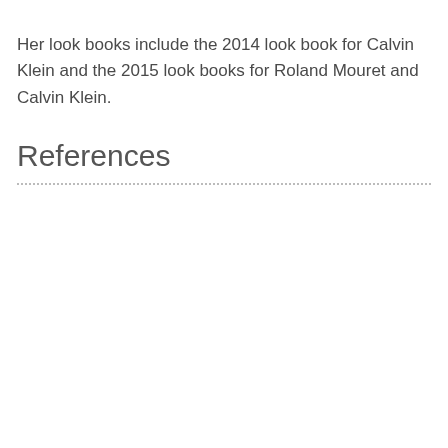Her look books include the 2014 look book for Calvin Klein and the 2015 look books for Roland Mouret and Calvin Klein.
References